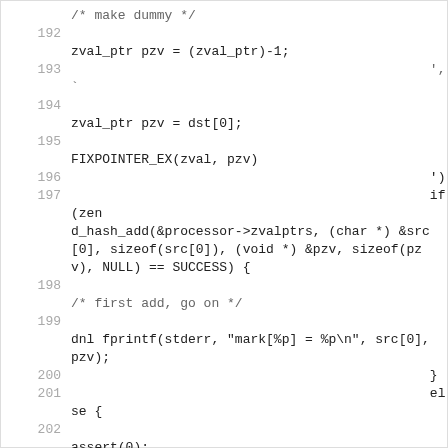/* make dummy */
192
zval_ptr pzv = (zval_ptr)-1;
193                                              ', `
194
zval_ptr pzv = dst[0];
195
FIXPOINTER_EX(zval, pzv)
196                                              ')
197                                              if (zend_hash_add(&processor->zvalptrs, (char *) &src[0], sizeof(src[0]), (void *) &pzv, sizeof(pzv), NULL) == SUCCESS) {
198
/* first add, go on */
199
dnl fprintf(stderr, "mark[%p] = %p\n", src[0], pzv);
200                                              }
201                                              else {
202
assert(0);